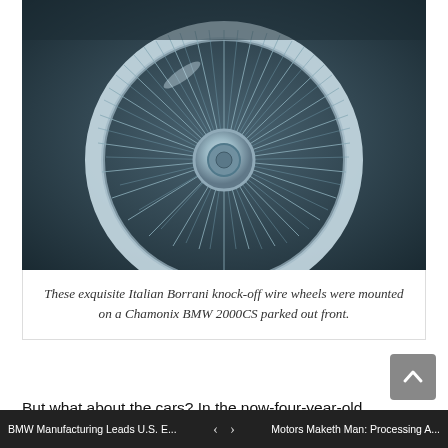[Figure (photo): Close-up photograph of Italian Borrani knock-off wire wheels, chrome spokes visible in detail, dark background]
These exquisite Italian Borrani knock-off wire wheels were mounted on a Chamonix BMW 2000CS parked out front.
But what about the cars? In the now-four-year-old YouTube video, Rey can be heard mentioning roughly 45 cars, with the total moving up to 55 when parts cars are included. Walking in a daze through the facility in 2019, the numbers make sense. While we were too mesmerized to count or to even take note of the full range of models, Rey's further description of a collection from around 1960 to 1988 seems perfectly accurate, with the only twin-cam engines present being lusted-after M designs like S14s or S38s—and a handful of S54s.
There are E21s, 2002s, E9 coupes, New Class sedans, and even some New Class coupes. There are M3s and Alpinas, including an
BMW Manufacturing Leads U.S. E...    ‹  ›    Motors Maketh Man: Processing A...